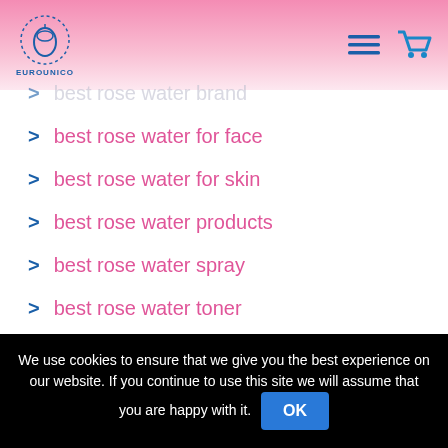EUROUNICO
best rose water brand
best rose water for face
best rose water for skin
best rose water products
best rose water spray
best rose water toner
best rosehip oil
best rosehip oil brand
We use cookies to ensure that we give you the best experience on our website. If you continue to use this site we will assume that you are happy with it. OK